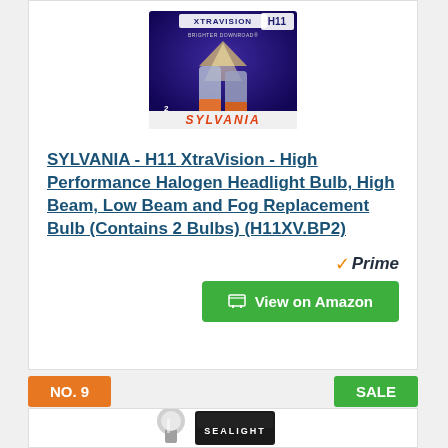[Figure (photo): SYLVANIA H11 XtraVision headlight bulb product packaging — two halogen bulbs visible in dark purple blister pack with SYLVANIA branding in orange/red at bottom.]
SYLVANIA - H11 XtraVision - High Performance Halogen Headlight Bulb, High Beam, Low Beam and Fog Replacement Bulb (Contains 2 Bulbs) (H11XV.BP2)
Prime
View on Amazon
NO. 9
SALE
[Figure (photo): SEALIGHT automotive bulb product — metallic silver/chrome bulb and dark packaging visible at bottom.]